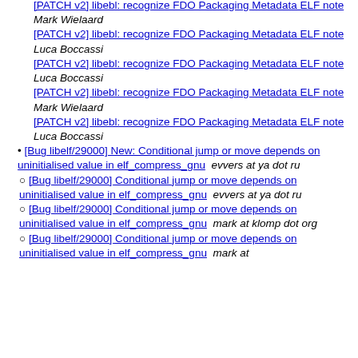[PATCH v2] libebl: recognize FDO Packaging Metadata ELF note  Mark Wielaard
[PATCH v2] libebl: recognize FDO Packaging Metadata ELF note  Luca Boccassi
[PATCH v2] libebl: recognize FDO Packaging Metadata ELF note  Luca Boccassi
[PATCH v2] libebl: recognize FDO Packaging Metadata ELF note  Mark Wielaard
[PATCH v2] libebl: recognize FDO Packaging Metadata ELF note  Luca Boccassi
[Bug libelf/29000] New: Conditional jump or move depends on uninitialised value in elf_compress_gnu  evvers at ya dot ru
[Bug libelf/29000] Conditional jump or move depends on uninitialised value in elf_compress_gnu  evvers at ya dot ru
[Bug libelf/29000] Conditional jump or move depends on uninitialised value in elf_compress_gnu  mark at klomp dot org
[Bug libelf/29000] Conditional jump or move depends on uninitialised value in elf_compress_gnu  mark at